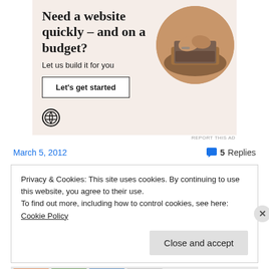[Figure (illustration): WordPress advertisement banner with beige/off-white background. Headline: 'Need a website quickly – and on a budget?', subtext: 'Let us build it for you', a 'Let's get started' button, a circular photo of hands typing on a laptop, and a WordPress logo at the bottom left.]
REPORT THIS AD
March 5, 2012
5 Replies
Privacy & Cookies: This site uses cookies. By continuing to use this website, you agree to their use.
To find out more, including how to control cookies, see here: Cookie Policy
Close and accept